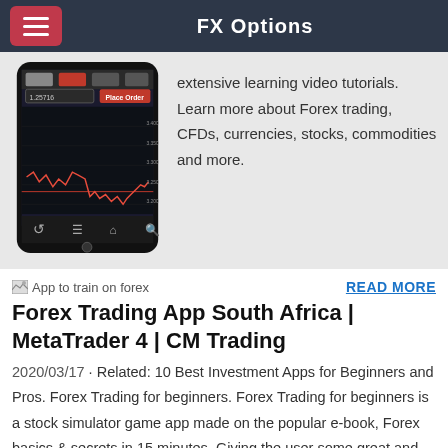FX Options
[Figure (screenshot): Screenshot of a forex trading mobile app showing a candlestick chart on a smartphone]
extensive learning video tutorials. Learn more about Forex trading, CFDs, currencies, stocks, commodities and more.
App to train on forex
READ MORE
Forex Trading App South Africa | MetaTrader 4 | CM Trading
2020/03/17 · Related: 10 Best Investment Apps for Beginners and Pros. Forex Trading for beginners. Forex Trading for beginners is a stock simulator game app made on the popular e-book, Forex basics & secrets in 15 minutes. Giving the user some great and friendly explanations and expert tips, the app …